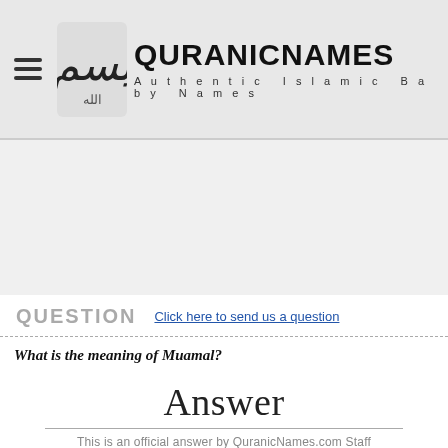QURANICNAMES — Authentic Islamic Baby Names
QUESTION — Click here to send us a question
What is the meaning of Muamal?
Answer
This is an official answer by QuranicNames.com Staff
Muamal is another spelling of the boy name Muammal. They are